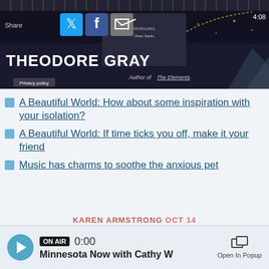[Figure (screenshot): Header banner with Theodore Gray branding, share buttons (Twitter, Facebook, Email), privacy policy link, and 4:08 timer. Dark background with cosmic imagery.]
A Beautiful World: How about some inspiration with your isolation?
A Beautiful World: If time ticks you off, make it your friend
Music has charms to soothe the anxious pet
[Figure (logo): Talking Volumes 2022 Season logo presented by Star Tribune and Minnesota Public Radio]
KAREN ARMSTRONG OCT 14
ON AIR 0:00 Minnesota Now with Cathy W   Open In Popup